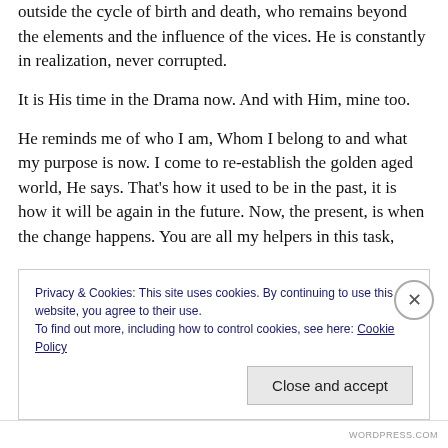outside the cycle of birth and death, who remains beyond the elements and the influence of the vices. He is constantly in realization, never corrupted.
It is His time in the Drama now. And with Him, mine too.
He reminds me of who I am, Whom I belong to and what my purpose is now. I come to re-establish the golden aged world, He says. That's how it used to be in the past, it is how it will be again in the future. Now, the present, is when the change happens. You are all my helpers in this task,
Privacy & Cookies: This site uses cookies. By continuing to use this website, you agree to their use.
To find out more, including how to control cookies, see here: Cookie Policy
Close and accept